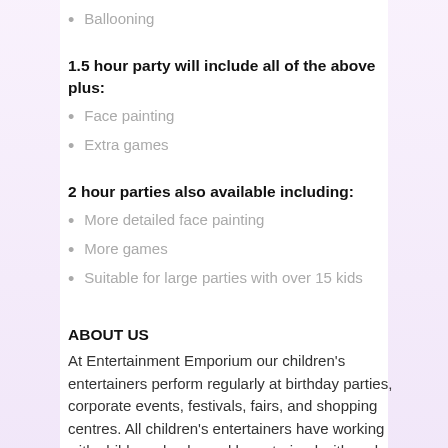Ballooning
1.5 hour party will include all of the above plus:
Face painting
Extra games
2 hour parties also available including:
More detailed face painting
More games
Suitable for large parties with over 15 kids
ABOUT US
At Entertainment Emporium our children's entertainers perform regularly at birthday parties, corporate events, festivals, fairs, and shopping centres. All children's entertainers have working with children checks and have trained with under the guidance of a professional actor and drama